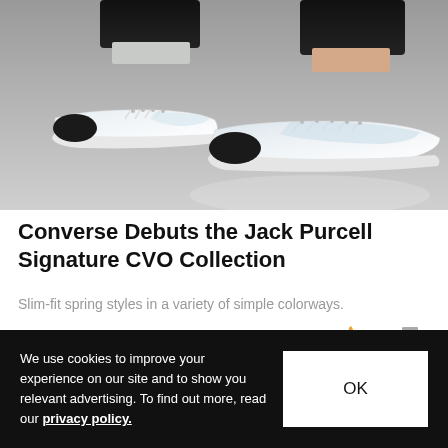[Figure (photo): Close-up photo of someone wearing white Converse Jack Purcell low-top sneakers on a gray concrete surface. The person is wearing black cuffed pants/jeans. Two shoes visible, one slightly behind the other.]
Converse Debuts the Jack Purcell Signature CVO Collection
Slim-fit spring styles in a variety of simple colorways.
Footwear   Mar 22, 2016   🔥 8.1K  💬 0
We use cookies to improve your experience on our site and to show you relevant advertising. To find out more, read our privacy policy.